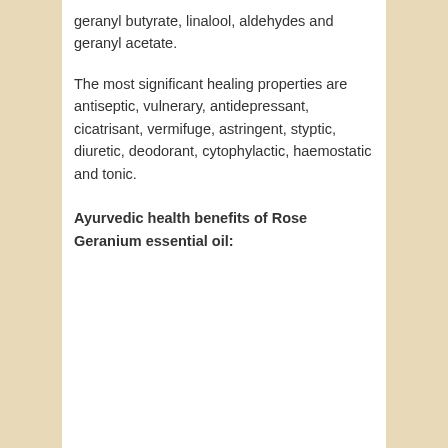geranyl butyrate, linalool, aldehydes and geranyl acetate.
The most significant healing properties are antiseptic, vulnerary, antidepressant, cicatrisant, vermifuge, astringent, styptic, diuretic, deodorant, cytophylactic, haemostatic and tonic.
Ayurvedic health benefits of Rose Geranium essential oil: